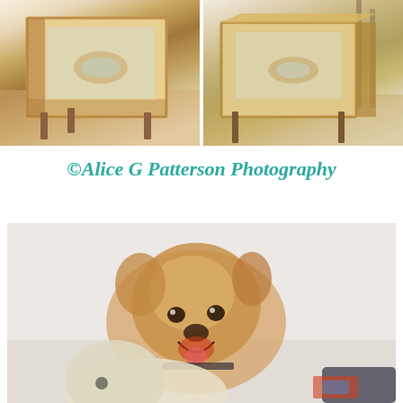[Figure (photo): Two side-by-side photos of a wooden box/crate with glass panels on hardwood floor, photographed from slightly different angles. Left photo shows the box from the front-left, right photo shows it from a slightly different perspective.]
©Alice G Patterson Photography
[Figure (photo): A small golden-brown dog (appears to be a Pomeranian or similar breed) smiling with mouth open, lying on a light-colored surface. In the foreground, blurred, is a stuffed animal toy (appears to be a bunny or unicorn). The background shows a white brick wall.]